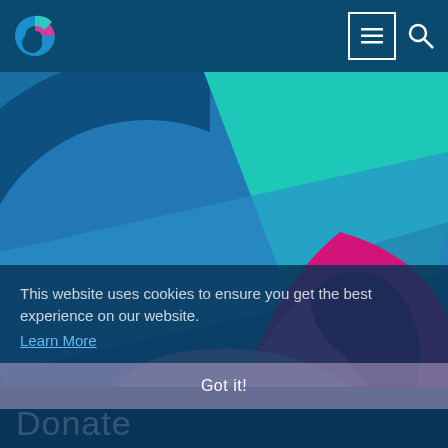Navigation bar with logo, menu button, and search icon
[Figure (illustration): Large stylized G logo graphic with teal, blue, magenta, and pink curved shapes on a blue background, filling the hero area of the webpage]
This website uses cookies to ensure you get the best experience on our website.
Learn More
Got it!
Donate